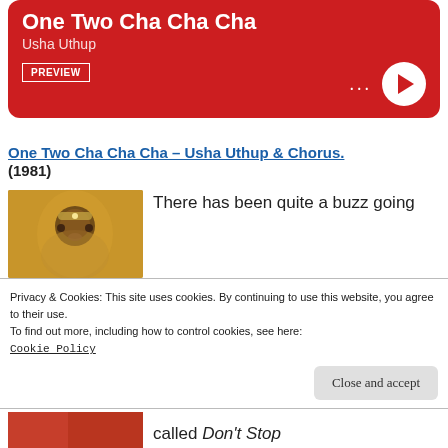[Figure (screenshot): Music player card with red background showing 'One Two Cha Cha Cha' by Usha Uthup, with PREVIEW button, dots menu, and white play button]
One Two Cha Cha Cha – Usha Uthup & Chorus. (1981)
[Figure (photo): Photo of Indian woman wearing traditional jewelry and headpiece against golden background]
There has been quite a buzz going
Privacy & Cookies: This site uses cookies. By continuing to use this website, you agree to their use.
To find out more, including how to control cookies, see here:
Cookie Policy
Close and accept
[Figure (photo): Partial photo at bottom left, appears to be another Indian woman in colorful traditional dress]
called Don't Stop